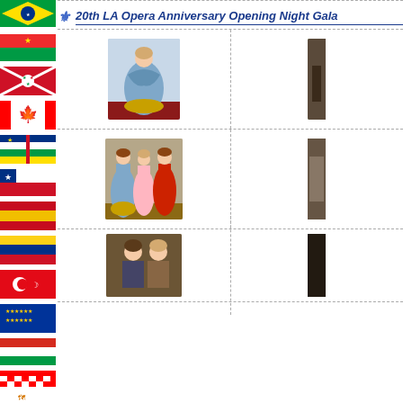[Figure (illustration): Left sidebar showing a column of country flags including Brazil, Burkina Faso, Burundi, Canada, Central African Republic, Chile, Spain, Colombia, Turkey, European Union, Paraguay, Croatia, Cyprus, Czech Republic flags]
20th LA Opera Anniversary Opening Night Gala
[Figure (photo): Photo of a woman in a blue/silver ballgown at the LA Opera gala event]
[Figure (photo): Partial photo of person at right edge of first row]
[Figure (photo): Photo of three women in formal gowns at the LA Opera gala, one in blue and gold, one in pink, one in red]
[Figure (photo): Partial photo at right edge of second row]
[Figure (photo): Partial photo of a person at the bottom left cell of third row]
[Figure (photo): Partial photo at right edge of third row]